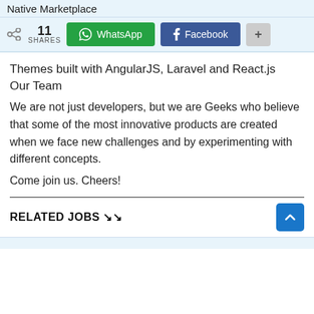Native Marketplace
11 SHARES | WhatsApp | Facebook | +
Themes built with AngularJS, Laravel and React.js
Our Team
We are not just developers, but we are Geeks who believe that some of the most innovative products are created when we face new challenges and by experimenting with different concepts.
Come join us. Cheers!
RELATED JOBS ↘↘